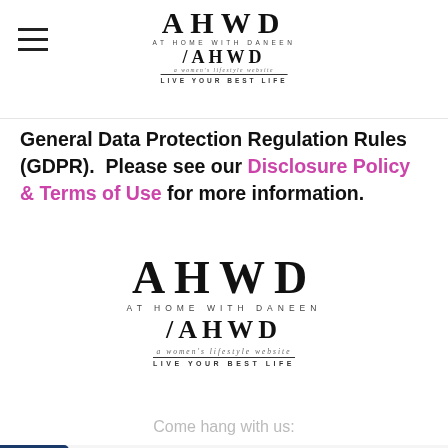At Home With Daneen — AHWD logo
General Data Protection Regulation Rules (GDPR). Please see our Disclosure Policy & Terms of Use for more information.
[Figure (logo): At Home With Daneen / AHWD logo — a women's lifestyle website LIVE YOUR BEST LIFE]
Come hang with us:
[Figure (infographic): infolinks bar with social media icons (Facebook, Twitter, Instagram, Pinterest, Email)]
[Figure (infographic): Fanatics ad banner: EXCLUSIVE BONUS EARN 4X FanCash on NFL Hoodies, SHOP NOW button, close button]